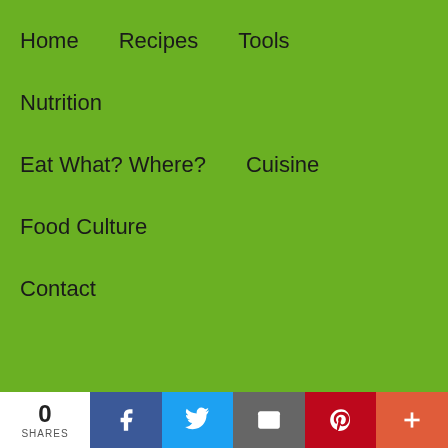Home
Recipes
Tools
Nutrition
Eat What? Where?
Cuisine
Food Culture
Contact
[Figure (photo): Woman using washer machine in apartment]
10 Best Washer Machines For Apartments
November 15, 2019
[Figure (photo): Countertop dishwasher product photo]
10 Best Dishwasher Sds
October 18, 2019
[Figure (photo): Edgestar portable dishwasher]
10 Best Edgestar Portable Dishwashers
October 17, 2019